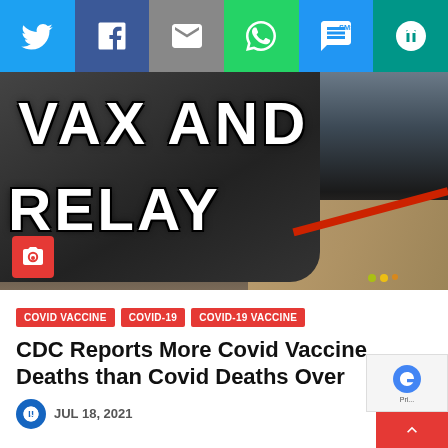[Figure (screenshot): Social media share bar with Twitter (blue), Facebook (dark blue), Email (grey), WhatsApp (green), SMS (blue), and other (teal) icon buttons]
[Figure (photo): Close-up photo of a painted rock or sign reading 'VAX AND RELAY' in white letters with black outlines on a dark surface, with a camera icon badge in red in the lower left]
COVID VACCINE
COVID-19
COVID-19 VACCINE
CDC Reports More Covid Vaccine Deaths than Covid Deaths Over
JUL 18, 2021